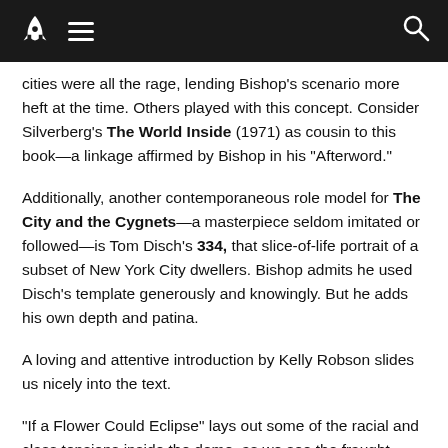Navigation bar with rocket logo, menu icon, and search icon
cities were all the rage, lending Bishop's scenario more heft at the time. Others played with this concept. Consider Silverberg's The World Inside (1971) as cousin to this book—a linkage affirmed by Bishop in his “Afterword.”
Additionally, another contemporaneous role model for The City and the Cygnets—a masterpiece seldom imitated or followed—is Tom Disch's 334, that slice-of-life portrait of a subset of New York City dwellers. Bishop admits he used Disch's template generously and knowingly. But he adds his own depth and patina.
A loving and attentive introduction by Kelly Robson slides us nicely into the text.
“If a Flower Could Eclipse” lays out some of the racial and class tensions inside the dome, as we see the fraught